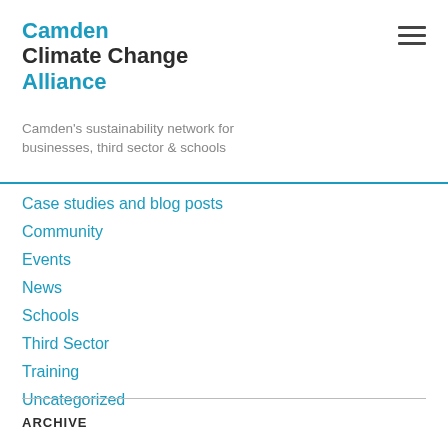Camden Climate Change Alliance
Camden's sustainability network for businesses, third sector & schools
Case studies and blog posts
Community
Events
News
Schools
Third Sector
Training
Uncategorized
ARCHIVE